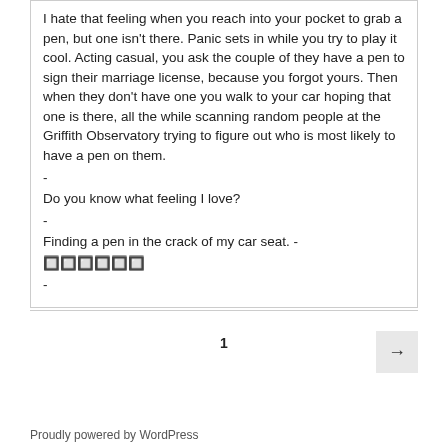I hate that feeling when you reach into your pocket to grab a pen, but one isn't there. Panic sets in while you try to play it cool. Acting casual, you ask the couple of they have a pen to sign their marriage license, because you forgot yours. Then when they don't have one you walk to your car hoping that one is there, all the while scanning random people at the Griffith Observatory trying to figure out who is most likely to have a pen on them.
-
Do you know what feeling I love?
-
Finding a pen in the crack of my car seat. -
🔲🔲🔲🔲🔲🔲
-
1
Proudly powered by WordPress